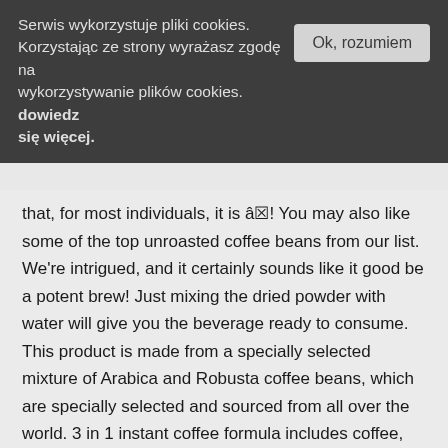Serwis wykorzystuje pliki cookies. Korzystając ze strony wyrażasz zgodę na wykorzystywanie plików cookies. dowiedz się więcej.
Ok, rozumiem
that, for most individuals, it is â! You may also like some of the top unroasted coffee beans from our list. We're intrigued, and it certainly sounds like it good be a potent brew! Just mixing the dried powder with water will give you the beverage ready to consume. This product is made from a specially selected mixture of Arabica and Robusta coffee beans, which are specially selected and sourced from all over the world. 3 in 1 instant coffee formula includes coffee, creamer and sugar all pre-mixed, Great option for frequent travelers as all you need to do is just add water, 40 sachets in total each with a 20 gram serving of coffee, 2 packs of 40 sachets are available in this offer. Most associate espresso with a high level of caffeine due to how intense and bitter it is, so it may come as a surprise to you that espresso is the least caffeinated of all the different